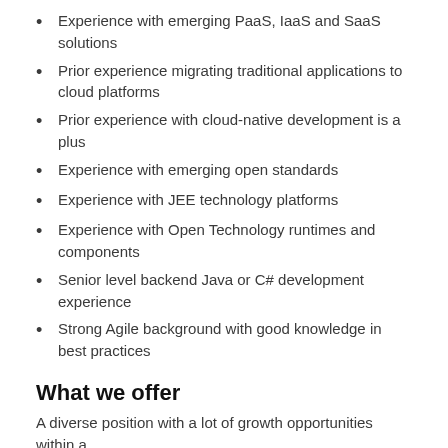Experience with emerging PaaS, IaaS and SaaS solutions
Prior experience migrating traditional applications to cloud platforms
Prior experience with cloud-native development is a plus
Experience with emerging open standards
Experience with JEE technology platforms
Experience with Open Technology runtimes and components
Senior level backend Java or C# development experience
Strong Agile background with good knowledge in best practices
What we offer
A diverse position with a lot of growth opportunities within a